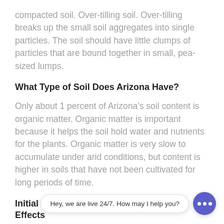compacted soil. Over-tilling soil. Over-tilling breaks up the small soil aggregates into single particles. The soil should have little clumps of particles that are bound together in small, pea-sized lumps.
What Type of Soil Does Arizona Have?
Only about 1 percent of Arizona’s soil content is organic matter. Organic matter is important because it helps the soil hold water and nutrients for the plants. Organic matter is very slow to accumulate under arid conditions, but content is higher in soils that have not been cultivated for long periods of time.
Initial and Final Setting time of Cement | Effects
2019/02/13 · Factors that affect initial and final setting time of cement: The fineness of cement, the presence